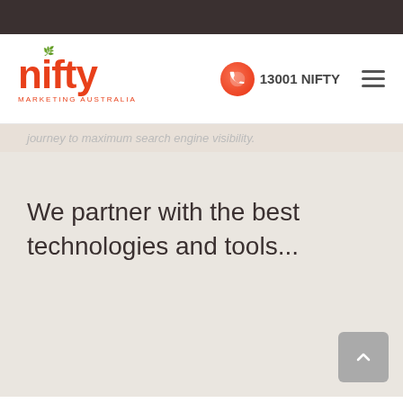nifty MARKETING AUSTRALIA | 13001 NIFTY
journey to maximum search engine visibility.
We partner with the best technologies and tools...